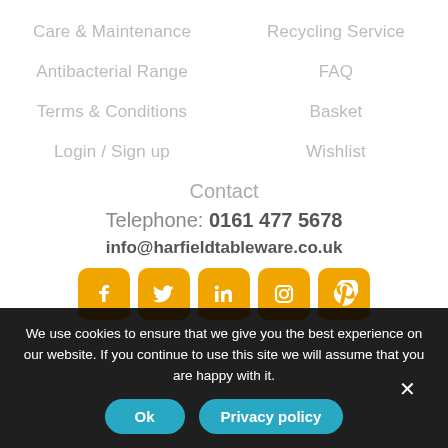Care & Maintenance
Recycling Service
Antibacterial Range
FAQ
Terms & Conditions
Basket
Login / Sign up
Wishlist
Contact
Telephone: 0161 477 5678
info@harfieldtableware.co.uk
[Figure (illustration): Five social media icons (Facebook, Twitter, LinkedIn, Instagram, Pinterest) with orange/amber rounded square backgrounds]
We use cookies to ensure that we give you the best experience on our website. If you continue to use this site we will assume that you are happy with it.
Ok
Privacy policy